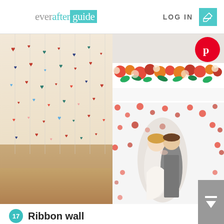everafterguide  LOG IN
[Figure (photo): Left: colorful paper hearts hanging from strings against a cream wall with wood floor. Right top: Pinterest badge visible, floral arrangement with orange flowers. Right bottom: Bride and groom kissing in front of a confetti/dot backdrop.]
17 Ribbon wall
Silk textured ribbons can add a pop of pretty colors. Follow the wedding color and give a flawless background to your photos.